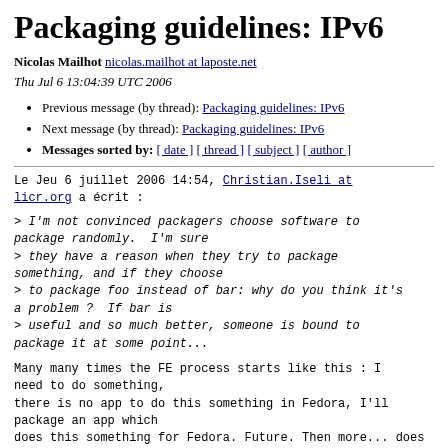Packaging guidelines: IPv6
Nicolas Mailhot nicolas.mailhot at laposte.net
Thu Jul 6 13:04:39 UTC 2006
Previous message (by thread): Packaging guidelines: IPv6
Next message (by thread): Packaging guidelines: IPv6
Messages sorted by: [ date ] [ thread ] [ subject ] [ author ]
Le Jeu 6 juillet 2006 14:54, Christian.Iseli at licr.org a écrit :
> I'm not convinced packagers choose software to package randomly.  I'm sure
> they have a reason when they try to package something, and if they choose
> to package foo instead of bar: why do you think it's a problem ?  If bar is
> useful and so much better, someone is bound to package it at some point...
Many many times the FE process starts like this : I need to do something,
there is no app to do this something in Fedora, I'll package an app which
does this something for Fedora. Future. Then more...